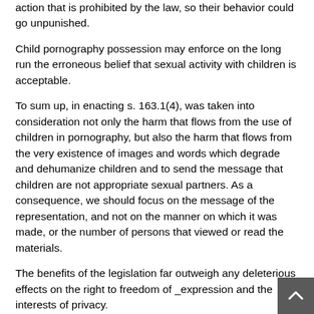action that is prohibited by the law, so their behavior could go unpunished.
Child pornography possession may enforce on the long run the erroneous belief that sexual activity with children is acceptable.
To sum up, in enacting s. 163.1(4), was taken into consideration not only the harm that flows from the use of children in pornography, but also the harm that flows from the very existence of images and words which degrade and dehumanize children and to send the message that children are not appropriate sexual partners. As a consequence, we should focus on the message of the representation, and not on the manner on which it was made, or the number of persons that viewed or read the materials.
The benefits of the legislation far outweigh any deleterious effects on the right to freedom of _expression and the interests of privacy.
No!, because an individual's personal belongings, such as books, diaries, photographs are a part of his/her being, an _expression of her individuality and personal interests. The freedom of